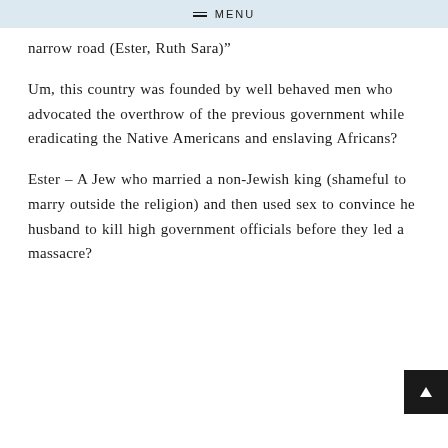MENU
narrow road (Ester, Ruth Sara)"
Um, this country was founded by well behaved men who advocated the overthrow of the previous government while eradicating the Native Americans and enslaving Africans?
Ester – A Jew who married a non-Jewish king (shameful to marry outside the religion) and then used sex to convince her husband to kill high government officials before they led a massacre?